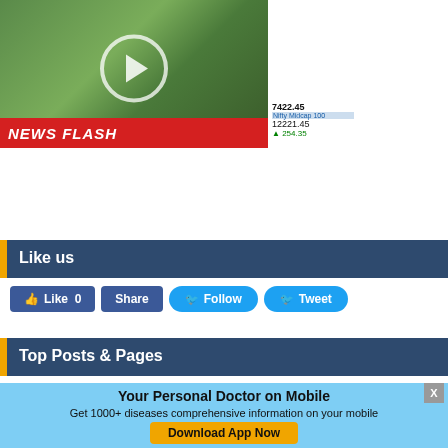[Figure (screenshot): News video thumbnail showing people outdoors with NEWS FLASH red banner and stock ticker showing Nifty Midcap 100 at 7422.45 / 12221.45 / +254.35, with a play button overlay. Caption text on bar reads 'Rolled out hospital pro...for hospital pati... ...2018']
Like us
Like 0   Share   Follow   Tweet
Top Posts & Pages
Your Personal Doctor on Mobile
Get 1000+ diseases comprehensive information on your mobile
Download App Now